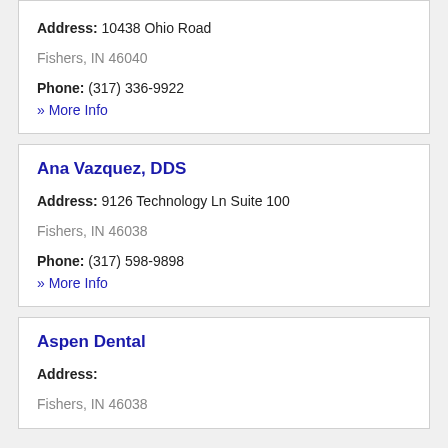Address: 10438 Ohio Road
Fishers, IN 46040
Phone: (317) 336-9922
» More Info
Ana Vazquez, DDS
Address: 9126 Technology Ln Suite 100
Fishers, IN 46038
Phone: (317) 598-9898
» More Info
Aspen Dental
Address:
Fishers, IN 46038